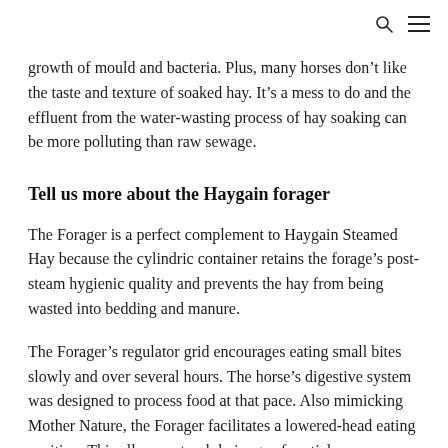growth of mould and bacteria. Plus, many horses don’t like the taste and texture of soaked hay. It’s a mess to do and the effluent from the water-wasting process of hay soaking can be more polluting than raw sewage.
Tell us more about the Haygain forager
The Forager is a perfect complement to Haygain Steamed Hay because the cylindric container retains the forage’s post-steam hygienic quality and prevents the hay from being wasted into bedding and manure.
The Forager’s regulator grid encourages eating small bites slowly and over several hours. The horse’s digestive system was designed to process food at that pace. Also mimicking Mother Nature, the Forager facilitates a lowered-head eating position. This allows natural drainage of particles